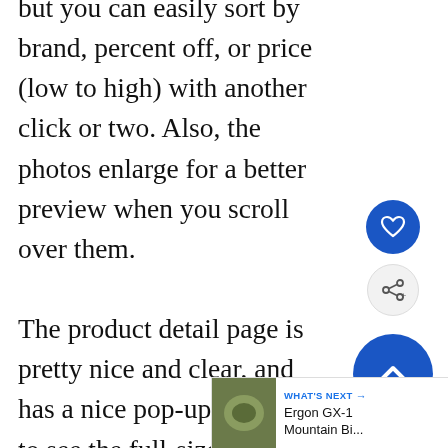but you can easily sort by brand, percent off, or price (low to high) with another click or two. Also, the photos enlarge for a better preview when you scroll over them.

The product detail page is pretty nice and clear, and has a nice pop-up function to see the full-size pictures. Sometimes the descriptions are confusing, though. Yesterday I was looking at one of their bikes, and the weight was listed twice. Once at 26.5 lb and the other at 29.87 lb. So which is it?!
[Figure (screenshot): UI overlay buttons: blue heart/favorite button, white share button, blue scroll-to-top chevron button, and a 'WHAT'S NEXT' bar with thumbnail and 'Ergon GX-1 Mountain Bi...' label]